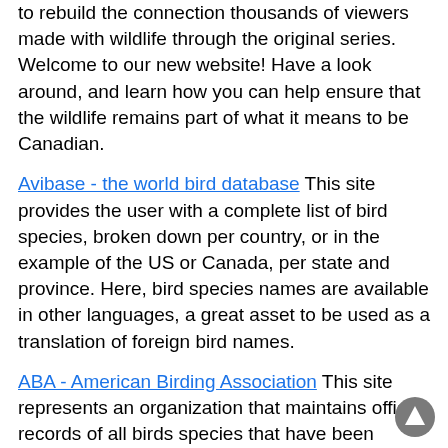to rebuild the connection thousands of viewers made with wildlife through the original series. Welcome to our new website! Have a look around, and learn how you can help ensure that the wildlife remains part of what it means to be Canadian.
Avibase - the world bird database This site provides the user with a complete list of bird species, broken down per country, or in the example of the US or Canada, per state and province. Here, bird species names are available in other languages, a great asset to be used as a translation of foreign bird names.
ABA - American Birding Association This site represents an organization that maintains official records of all birds species that have been proven to have been seen inside the perimeters of the North American Continent and the surrounding bodies of water. Regular revised versions are posted to keep the bird list current at all times. This is the list used by all serious birders over their lifetime. You may be aware of the movie called the "Big Year". It was with